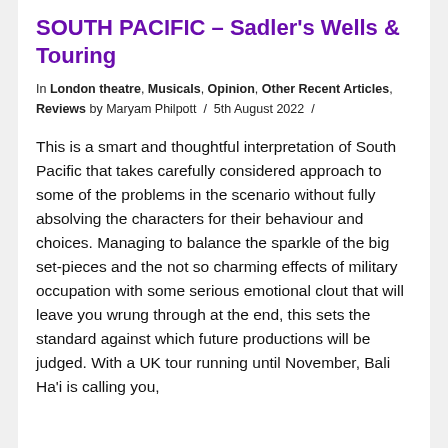SOUTH PACIFIC – Sadler's Wells & Touring
In London theatre, Musicals, Opinion, Other Recent Articles, Reviews by Maryam Philpott / 5th August 2022 /
This is a smart and thoughtful interpretation of South Pacific that takes carefully considered approach to some of the problems in the scenario without fully absolving the characters for their behaviour and choices. Managing to balance the sparkle of the big set-pieces and the not so charming effects of military occupation with some serious emotional clout that will leave you wrung through at the end, this sets the standard against which future productions will be judged. With a UK tour running until November, Bali Ha'i is calling you,